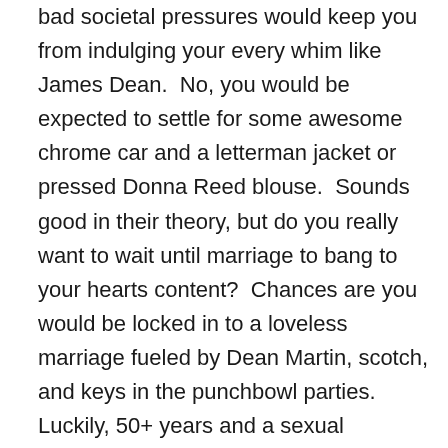bad societal pressures would keep you from indulging your every whim like James Dean.  No, you would be expected to settle for some awesome chrome car and a letterman jacket or pressed Donna Reed blouse.  Sounds good in their theory, but do you really want to wait until marriage to bang to your hearts content?  Chances are you would be locked in to a loveless marriage fueled by Dean Martin, scotch, and keys in the punchbowl parties.  Luckily, 50+ years and a sexual revolution later, we can indulge our carnal desire milkshake without having to buy the whole rancid cow.  Bear in mind that back then the concept of lactose intolerance was not even a glimmer in the milkman banging the bored housewife's eye.  But we can thank the 50's for the malt shop culture.  Back then they couldn't bang so they consumed high calorie treats.  Now we can do both.  So sip your milkshake while you lift